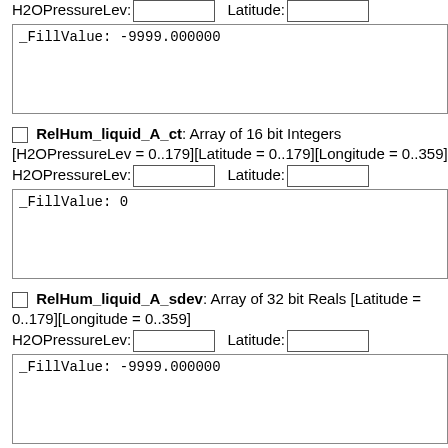H2OPressureLev: [input] Latitude: [input]  _FillValue: -9999.000000
RelHum_liquid_A_ct: Array of 16 bit Integers [H2OPressureLev = 0..179][Longitude = 0..359]  H2OPressureLev: [input] Latitude: [input]  _FillValue: 0
RelHum_liquid_A_sdev: Array of 32 bit Reals [H2OPressureLev = 0..179][Latitude = 0..179][Longitude = 0..359]  H2OPressureLev: [input] Latitude: [input]  _FillValue: -9999.000000
RelHum_liquid_A_min: Array of 32 bit Reals [H2OPressureLev = 0..179][Longitude = 0..359]  H2OPressureLev: [input] Latitude: [input]